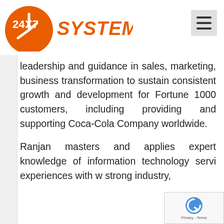[Figure (logo): 24X7 Systems logo with orange circle and hamburger menu icon]
leadership and guidance in sales, marketing, business transformation to sustain consistent growth and development for Fortune 1000 customers, including providing and supporting Coca-Cola Company worldwide.
Ranjan masters and applies expert knowledge of information technology servi experiences with w strong industry,